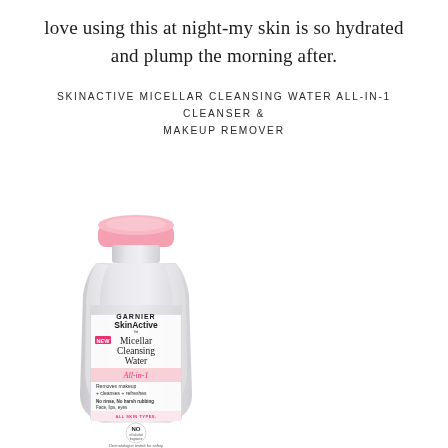love using this at night-my skin is so hydrated and plump the morning after.
SKINACTIVE MICELLAR CLEANSING WATER ALL-IN-1 CLEANSER & MAKEUP REMOVER
[Figure (photo): Garnier SkinActive Micellar Cleansing Water All-in-1 bottle with pink cap, showing label with 'NEW', 'Micellar Cleansing Water', 'All-in-1', 'Removes makeup + cleanses + refreshes', 'No rinse, No harsh rubbing', 'Face, lips, eyes', 'ALL SKIN TYPES, EVEN SENSITIVE', and a NO (oil, alcohol, fragrance) badge.]